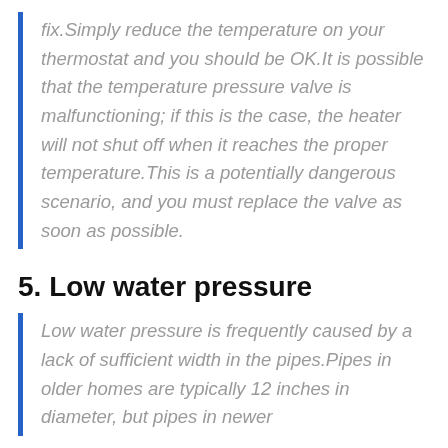fix.Simply reduce the temperature on your thermostat and you should be OK.It is possible that the temperature pressure valve is malfunctioning; if this is the case, the heater will not shut off when it reaches the proper temperature.This is a potentially dangerous scenario, and you must replace the valve as soon as possible.
5. Low water pressure
Low water pressure is frequently caused by a lack of sufficient width in the pipes.Pipes in older homes are typically 12 inches in diameter, but pipes in newer